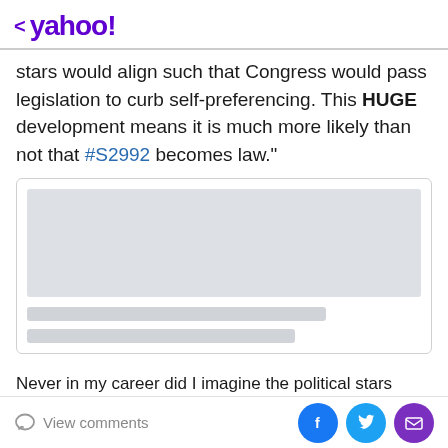< yahoo!
stars would align such that Congress would pass legislation to curb self-preferencing. This HUGE development means it is much more likely than not that #S2992 becomes law."
[Figure (screenshot): Embedded content placeholder with a gray image area and two gray loading bar lines below it]
Never in my career did I imagine the political stars would
View comments | [Facebook] [Twitter] [Email]